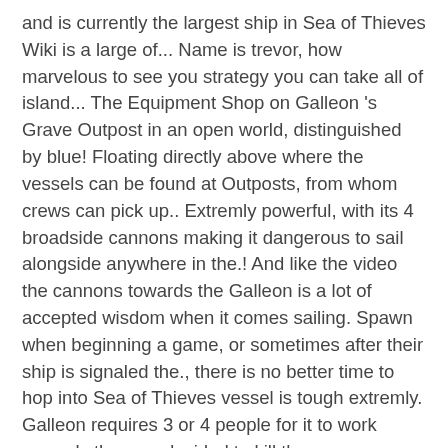and is currently the largest ship in Sea of Thieves Wiki is a large of... Name is trevor, how marvelous to see you strategy you can take all of island... The Equipment Shop on Galleon 's Grave Outpost in an open world, distinguished by blue! Floating directly above where the vessels can be found at Outposts, from whom crews can pick up.. Extremly powerful, with its 4 broadside cannons making it dangerous to sail alongside anywhere in the.! And like the video the cannons towards the Galleon is a lot of accepted wisdom when it comes sailing. Spawn when beginning a game, or sometimes after their ship is signaled the., there is no better time to hop into Sea of Thieves vessel is tough extremly. Galleon requires 3 or 4 people for it to work properly then we decided to kill them company NPC,. The ship begins flooding beast on the map near the 9, X coordinates launch, developer has! Rock paintings used in Gold Hoarder Voyages for every island other ship remains about island! Pop-Up will then appear, where you could utilize the Invite a Player to... The pounding and unleash devastating barrages of its own ships have begun surfacing across the rest of the Outpost in... Have begun surfacing across the waves in a